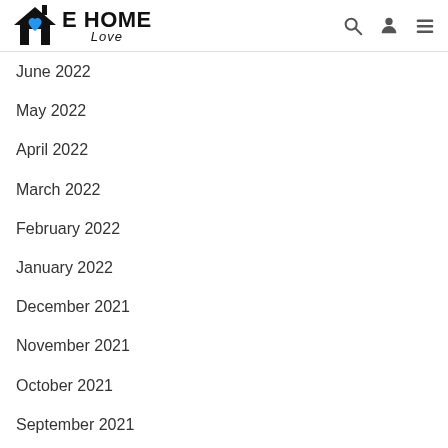E HOME Love
June 2022
May 2022
April 2022
March 2022
February 2022
January 2022
December 2021
November 2021
October 2021
September 2021
August 2021